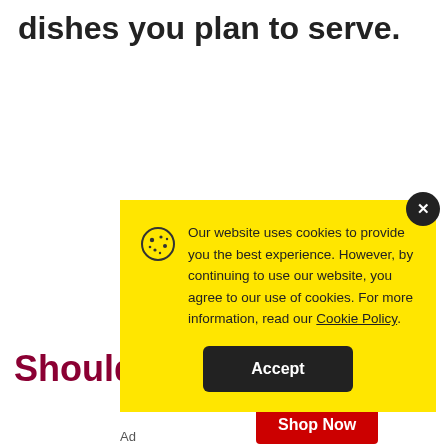dishes you plan to serve.
[Figure (screenshot): Cookie consent popup with yellow background. Shows a cookie icon, text about cookie usage policy with a link to Cookie Policy, and an Accept button. A dark close (X) button is in the top-right corner.]
Should
Buy 3 G
Shop Now
Ad